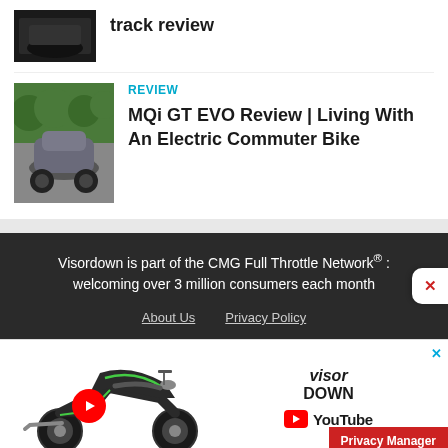[Figure (photo): Partially visible dark motorcycle image with article title 'track review']
track review
REVIEW
MQi GT EVO Review | Living With An Electric Commuter Bike
[Figure (photo): Electric scooter parked on a street with green hedges in background]
Visordown is part of the CMG Full Throttle Network® : welcoming over 3 million consumers each month
About Us   Privacy Policy
[Figure (photo): Advertisement showing a Kawasaki motorcycle with YouTube play button overlay and Visordown YouTube branding]
Privacy Manager